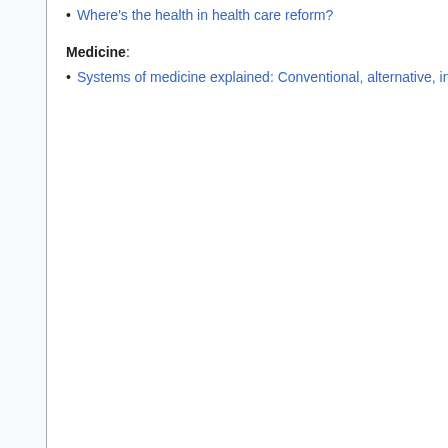Where's the health in health care reform?
Medicine:
Systems of medicine explained: Conventional, alternative, integrative…